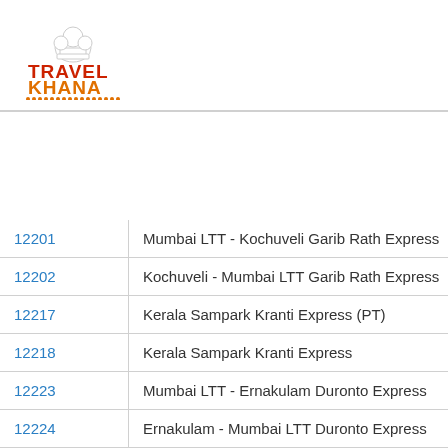[Figure (logo): TravelKhana logo with chef hat icon, TRAVEL in red bold text, KHANA in orange bold text, decorative dots underline]
| Train No. | Train Name |
| --- | --- |
| 12201 | Mumbai LTT - Kochuveli Garib Rath Express |
| 12202 | Kochuveli - Mumbai LTT Garib Rath Express |
| 12217 | Kerala Sampark Kranti Express (PT) |
| 12218 | Kerala Sampark Kranti Express |
| 12223 | Mumbai LTT - Ernakulam Duronto Express |
| 12224 | Ernakulam - Mumbai LTT Duronto Express |
| 12283 | Ernakulam - Hazrat Nizamuddin Duronto Exp… |
| 12284 | Hazrat Nizamuddin - Ernakulam Duronto Exp… |
| 12287 | Kochuveli - Dehradun SF Express |
| 12288 | Yog Nagari Rishikesh - Kochuveli SF Expres… |